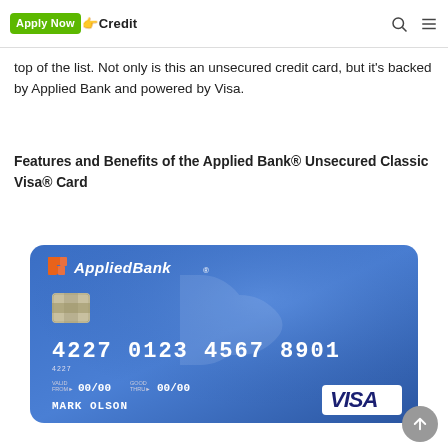ApplyNow Credit (navigation bar with search and menu icons)
top of the list. Not only is this an unsecured credit card, but it's backed by Applied Bank and powered by Visa.
Features and Benefits of the Applied Bank® Unsecured Classic Visa® Card
[Figure (photo): Applied Bank Unsecured Classic Visa credit card — blue card showing the Applied Bank logo (orange and white), card number 4227 0123 4567 8901, valid from 00/00, good thru 00/00, cardholder name MARK OLSON, chip, and Visa logo.]
[Figure (other): Scroll-to-top circular grey button with upward chevron arrow]